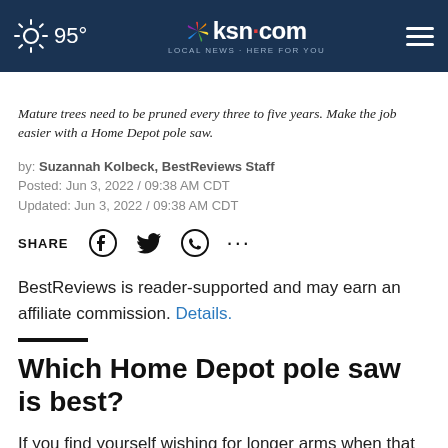95° | ksn.com LOCAL NEWS · HERE FOR YOU
Mature trees need to be pruned every three to five years. Make the job easier with a Home Depot pole saw.
by: Suzannah Kolbeck, BestReviews Staff
Posted: Jun 3, 2022 / 09:38 AM CDT
Updated: Jun 3, 2022 / 09:38 AM CDT
[Figure (infographic): Share row with SHARE label and social media icons: Facebook, Twitter, WhatsApp, and more (ellipsis)]
BestReviews is reader-supported and may earn an affiliate commission. Details.
Which Home Depot pole saw is best?
If you find yourself wishing for longer arms when that